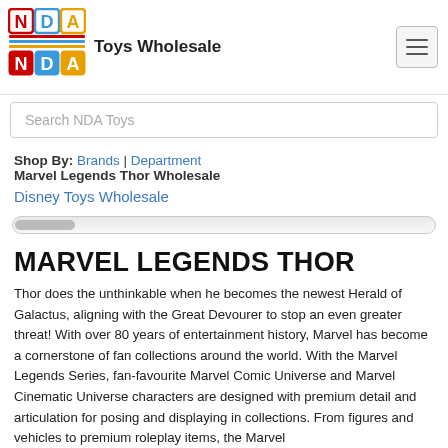Toys Wholesale
Search NDA Toys
Shop By: Brands | Department
Marvel Legends Thor Wholesale
Disney Toys Wholesale
MARVEL LEGENDS THOR
Thor does the unthinkable when he becomes the newest Herald of Galactus, aligning with the Great Devourer to stop an even greater threat! With over 80 years of entertainment history, Marvel has become a cornerstone of fan collections around the world. With the Marvel Legends Series, fan-favourite Marvel Comic Universe and Marvel Cinematic Universe characters are designed with premium detail and articulation for posing and displaying in collections. From figures and vehicles to premium roleplay items, the Marvel